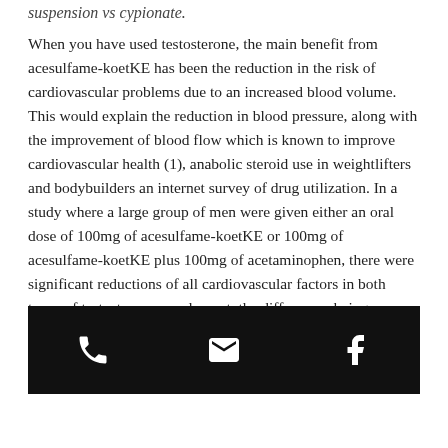suspension vs cypionate.
When you have used testosterone, the main benefit from acesulfame-koetKE has been the reduction in the risk of cardiovascular problems due to an increased blood volume. This would explain the reduction in blood pressure, along with the improvement of blood flow which is known to improve cardiovascular health (1), anabolic steroid use in weightlifters and bodybuilders an internet survey of drug utilization. In a study where a large group of men were given either an oral dose of 100mg of acesulfame-koetKE or 100mg of acesulfame-koetKE plus 100mg of acetaminophen, there were significant reductions of all cardiovascular factors in both types of testosterone supplement, the differences being significant,
[Figure (infographic): Dark footer bar with phone, email/envelope, and Facebook icons in white on black background]